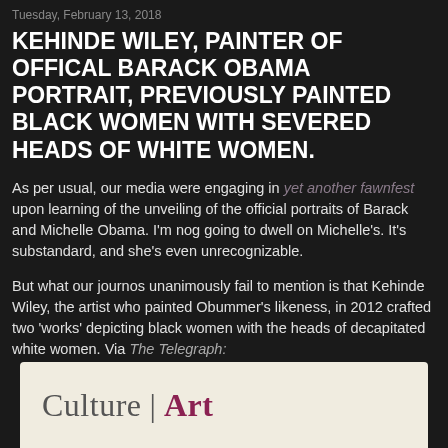Tuesday, February 13, 2018
KEHINDE WILEY, PAINTER OF OFFICAL BARACK OBAMA PORTRAIT, PREVIOUSLY PAINTED BLACK WOMEN WITH SEVERED HEADS OF WHITE WOMEN.
As per usual, our media were engaging in yet another fawnfest upon learning of the unveiling of the official portraits of Barack and Michelle Obama. I'm nog going to dwell on Michelle's. It's substandard, and she's even unrecognizable.
But what our journos unanimously fail to mention is that Kehinde Wiley, the artist who painted Obummer's likeness, in 2012 crafted two 'works' depicting black women with the heads of decapitated white women. Via The Telegraph:
[Figure (screenshot): Partial screenshot of a web page showing 'Culture | Art' header section with light beige background]